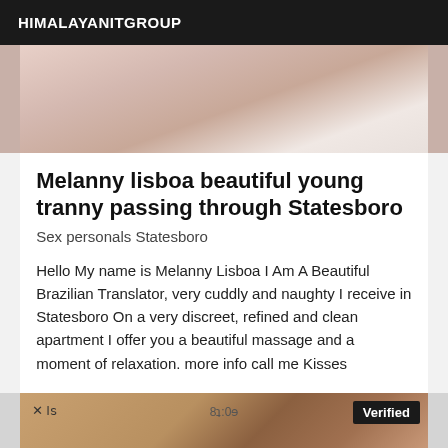HIMALAYANITGROUP
[Figure (photo): Partial photo of a person in white clothing, close-up cropped image]
Melanny lisboa beautiful young tranny passing through Statesboro
Sex personals Statesboro
Hello My name is Melanny Lisboa I Am A Beautiful Brazilian Translator, very cuddly and naughty I receive in Statesboro On a very discreet, refined and clean apartment I offer you a beautiful massage and a moment of relaxation. more info call me Kisses
[Figure (photo): Partial photo showing a person, with a Verified badge in the top right corner and phone status bar elements visible]